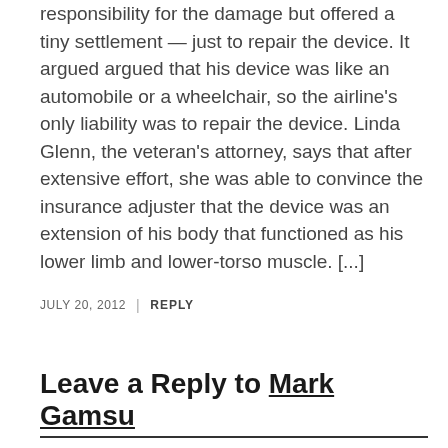responsibility for the damage but offered a tiny settlement — just to repair the device. It argued argued that his device was like an automobile or a wheelchair, so the airline's only liability was to repair the device. Linda Glenn, the veteran's attorney, says that after extensive effort, she was able to convince the insurance adjuster that the device was an extension of his body that functioned as his lower limb and lower-torso muscle. [...]
JULY 20, 2012 | REPLY
Leave a Reply to Mark Gamsu